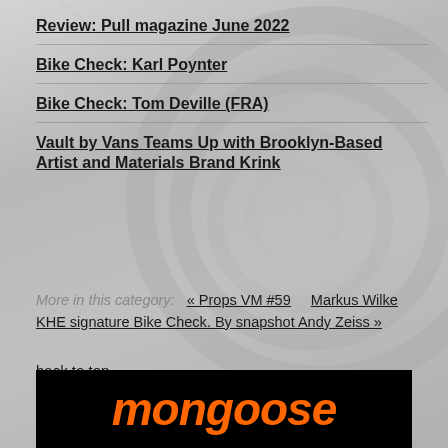Review: Pull magazine June 2022
Bike Check: Karl Poynter
Bike Check: Tom Deville (FRA)
Vault by Vans Teams Up with Brooklyn-Based Artist and Materials Brand Krink
More in this category:  « Props VM #59    Markus Wilke KHE signature Bike Check. By snapshot Andy Zeiss »
back to top
[Figure (logo): Mongoose logo in orange italic bold text on black background]